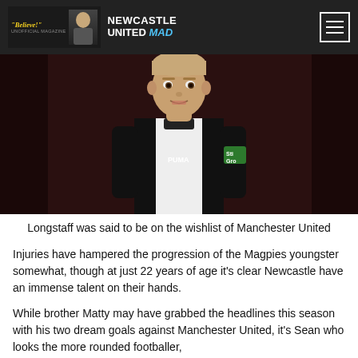"Believe!" NEWCASTLE UNITED MAD
[Figure (photo): Young footballer wearing Newcastle United black and white striped kit with Puma logo, looking forward with mouth slightly open, dark background]
Longstaff was said to be on the wishlist of Manchester United
Injuries have hampered the progression of the Magpies youngster somewhat, though at just 22 years of age it's clear Newcastle have an immense talent on their hands.
While brother Matty may have grabbed the headlines this season with his two dream goals against Manchester United, it's Sean who looks the more rounded footballer,